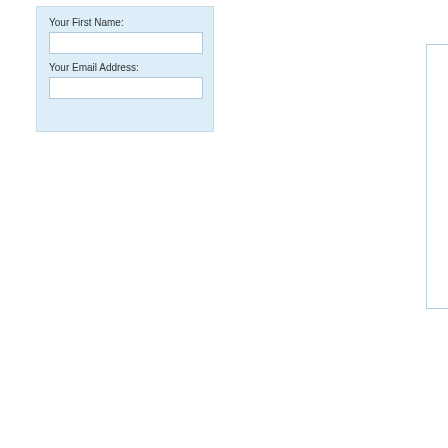Your First Name:
Your Email Address:
[Figure (other): Product card with text 'Menopace Original 30's' and 'Login voor prijs' in blue-grey color on white background with light border]